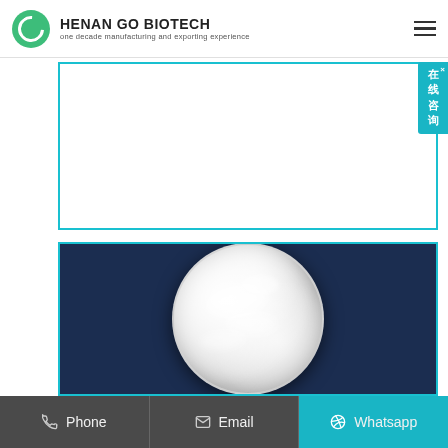HENAN GO BIOTECH — one decade manufacturing and exporting experience
[Figure (photo): White powder in a glass petri dish on a dark navy background — product photo of a pharmaceutical or chemical powder]
Phone | Email | Whatsapp